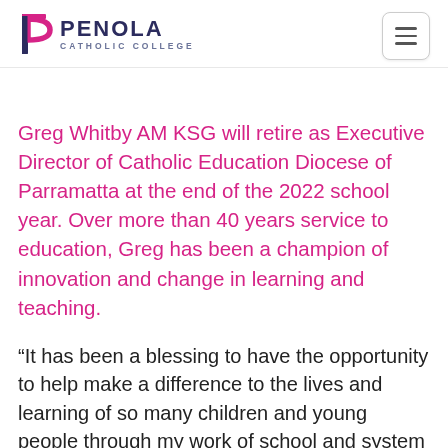Penola Catholic College
Greg Whitby AM KSG will retire as Executive Director of Catholic Education Diocese of Parramatta at the end of the 2022 school year. Over more than 40 years service to education, Greg has been a champion of innovation and change in learning and teaching.
“It has been a blessing to have the opportunity to help make a difference to the lives and learning of so many children and young people through my work of school and system leadership.” Greg said. “My heartfelt thanks to everyone I